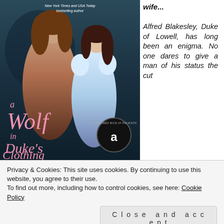[Figure (illustration): Book cover for 'A Wolf in Duke's Clothing' showing a shirtless man with long hair and a woman in a blue Regency dress, with an Amazon Best Book of the Month badge. Text on cover reads 'New York Times and USA Today bestselling author', 'a Wolf in Duke's Clothing'.]
wife...

Alfred Blakesley, Duke of Lowell, has long been an enigma. No one dares to give a man of his status the cut
Privacy & Cookies: This site uses cookies. By continuing to use this website, you agree to their use.
To find out more, including how to control cookies, see here: Cookie Policy
Close and accept
something not quite right about him. What would the society ladies say if